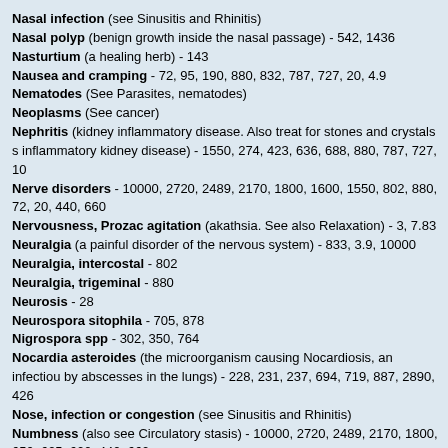Nasal infection (see Sinusitis and Rhinitis)
Nasal polyp (benign growth inside the nasal passage) - 542, 1436
Nasturtium (a healing herb) - 143
Nausea and cramping - 72, 95, 190, 880, 832, 787, 727, 20, 4.9
Nematodes (See Parasites, nematodes)
Neoplasms (See cancer)
Nephritis (kidney inflammatory disease. Also treat for stones and crystals s inflammatory kidney disease) - 1550, 274, 423, 636, 688, 880, 787, 727, 10
Nerve disorders - 10000, 2720, 2489, 2170, 1800, 1600, 1550, 802, 880, 72, 20, 440, 660
Nervousness, Prozac agitation (akathsia. See also Relaxation) - 3, 7.83
Neuralgia (a painful disorder of the nervous system) - 833, 3.9, 10000
Neuralgia, intercostal - 802
Neuralgia, trigeminal - 880
Neurosis - 28
Neurospora sitophila - 705, 878
Nigrospora spp - 302, 350, 764
Nocardia asteroides (the microorganism causing Nocardiosis, an infectiou by abscesses in the lungs) - 228, 231, 237, 694, 719, 887, 2890, 426
Nose, infection or congestion (see Sinusitis and Rhinitis)
Numbness (also see Circulatory stasis) - 10000, 2720, 2489, 2170, 1800, 650, 625, 600, 440, 660
Nutrition - 354, 356, 363, 344, 347, 454, 348, 254, 440
Oat smut - 806, 421, 251, 42, 3, 1
Oligodena - 853
Oospora - 9599, 5346
Oral lesions (chronic cases will always return until metal dentalwork is rep See also herpes simplex I and use Stomatitis) - 2720, 2489, 2008, 1800, 1